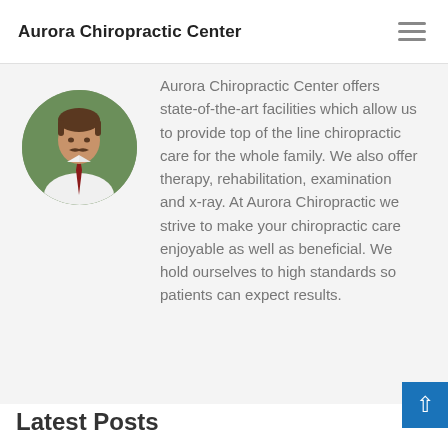Aurora Chiropractic Center
[Figure (photo): Circular portrait photo of a male chiropractor in a white shirt and red tie, outdoors with green foliage background]
Aurora Chiropractic Center offers state-of-the-art facilities which allow us to provide top of the line chiropractic care for the whole family. We also offer therapy, rehabilitation, examination and x-ray. At Aurora Chiropractic we strive to make your chiropractic care enjoyable as well as beneficial. We hold ourselves to high standards so patients can expect results.
Latest Posts